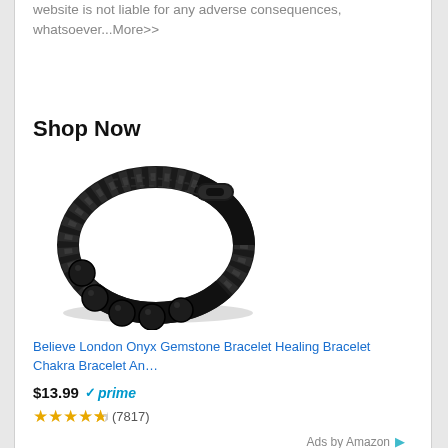website is not liable for any adverse consequences, whatsoever...More>>
Shop Now
[Figure (photo): Black braided leather bracelet with onyx gemstone beads and magnetic clasp]
Believe London Onyx Gemstone Bracelet Healing Bracelet Chakra Bracelet An…
$13.99 ✓prime
★★★★½ (7817)
Ads by Amazon ▷